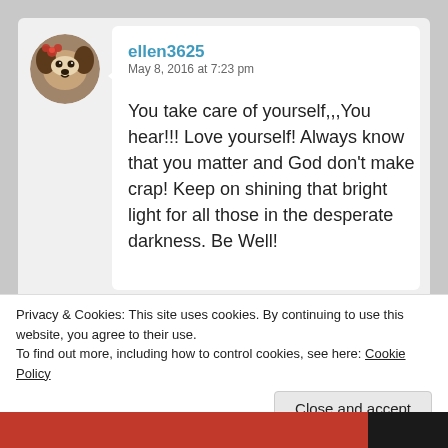[Figure (photo): Circular avatar photo of a dog (appears to be a Bernese or similar breed) with red flowers/bow]
ellen3625
May 8, 2016 at 7:23 pm
You take care of yourself,,,You hear!!! Love yourself! Always know that you matter and God don't make crap! Keep on shining that bright light for all those in the desperate darkness. Be Well!
Liked by 1 person
Advertisements
Privacy & Cookies: This site uses cookies. By continuing to use this website, you agree to their use.
To find out more, including how to control cookies, see here: Cookie Policy
Close and accept